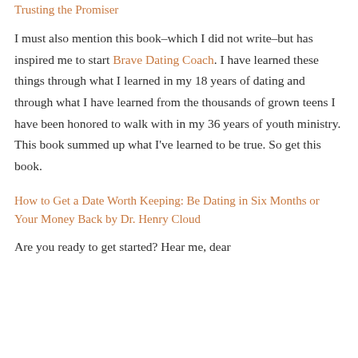Trusting the Promiser
I must also mention this book–which I did not write–but has inspired me to start Brave Dating Coach. I have learned these things through what I learned in my 18 years of dating and through what I have learned from the thousands of grown teens I have been honored to walk with in my 36 years of youth ministry. This book summed up what I've learned to be true. So get this book.
How to Get a Date Worth Keeping: Be Dating in Six Months or Your Money Back by Dr. Henry Cloud
Are you ready to get started? Hear me, dear